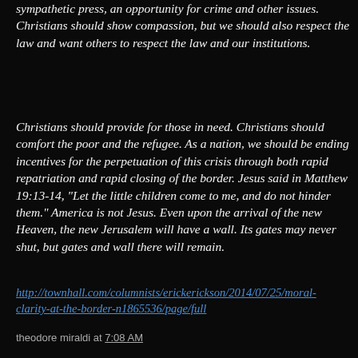sympathetic press, an opportunity for crime and other issues. Christians should show compassion, but we should also respect the law and want others to respect the law and our institutions.
Christians should provide for those in need. Christians should comfort the poor and the refugee. As a nation, we should be ending incentives for the perpetuation of this crisis through both rapid repatriation and rapid closing of the border. Jesus said in Matthew 19:13-14, "Let the little children come to me, and do not hinder them." America is not Jesus. Even upon the arrival of the new Heaven, the new Jerusalem will have a wall. Its gates may never shut, but gates and wall there will remain.
http://townhall.com/columnists/erickerickson/2014/07/25/moral-clarity-at-the-border-n1865536/page/full
theodore miraldi at 7:08 AM